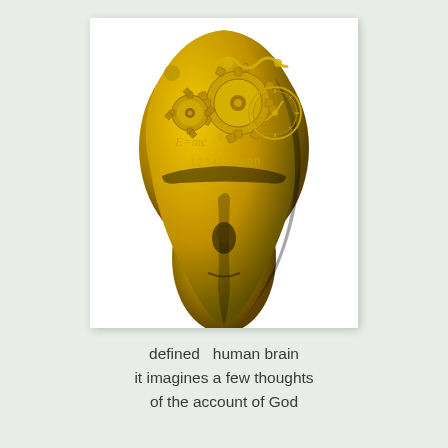[Figure (illustration): A golden metallic human head (front view, looking upward) with gears, neural wave patterns, the equation E=mc², and numbers 1234567890 visible on the top/forehead area, suggesting mechanical or mathematical thinking.]
defined   human brain
it imagines a few thoughts
of the account of God